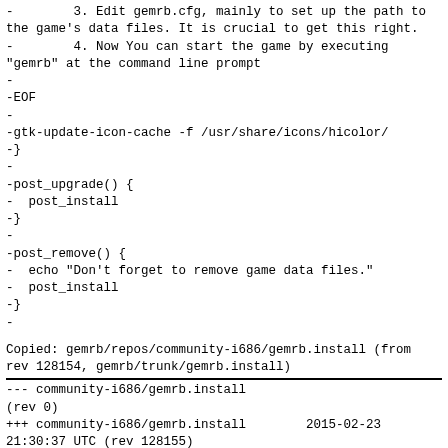-        3. Edit gemrb.cfg, mainly to set up the path to the game's data files. It is crucial to get this right.
-        4. Now You can start the game by executing "gemrb" at the command line prompt
-
-EOF
-
-gtk-update-icon-cache -f /usr/share/icons/hicolor/
-}
-
-post_upgrade() {
-  post_install
-}
-
-post_remove() {
-  echo "Don't forget to remove game data files."
-  post_install
-}
-
Copied: gemrb/repos/community-i686/gemrb.install (from rev 128154, gemrb/trunk/gemrb.install)
--- community-i686/gemrb.install
(rev 0)
+++ community-i686/gemrb.install        2015-02-23
21:30:37 UTC (rev 128155)
@@ -0,0 +1,24 @@
+post_install() {
+  cat << EOF